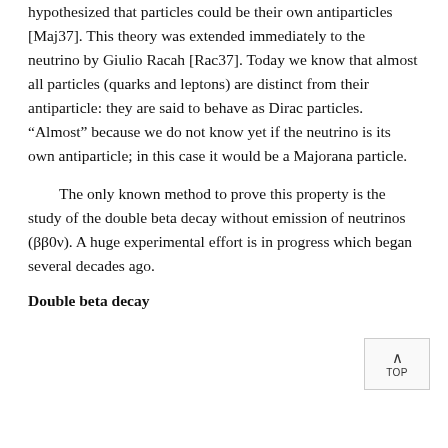hypothesized that particles could be their own antiparticles [Maj37]. This theory was extended immediately to the neutrino by Giulio Racah [Rac37]. Today we know that almost all particles (quarks and leptons) are distinct from their antiparticle: they are said to behave as Dirac particles. “Almost” because we do not know yet if the neutrino is its own antiparticle; in this case it would be a Majorana particle.
The only known method to prove this property is the study of the double beta decay without emission of neutrinos (ββ0ν). A huge experimental effort is in progress which began several decades ago.
Double beta decay